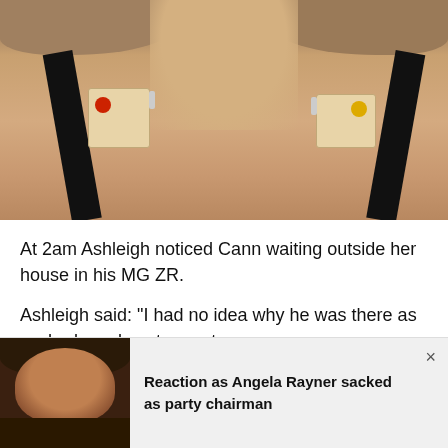[Figure (photo): Close-up photo of a woman's neck and chest area wearing a black bra with medical sensors/electrodes attached with tape on each shoulder strap area, wearing a fur-trimmed coat collar at top]
At 2am Ashleigh noticed Cann waiting outside her house in his MG ZR.
Ashleigh said: “I had no idea why he was there as we had no plans to meet
[Figure (photo): Thumbnail photo of a woman with brown hair and fringe wearing a dark coat, with overlay text about Angela Rayner]
Reaction as Angela Rayner sacked as party chairman
×